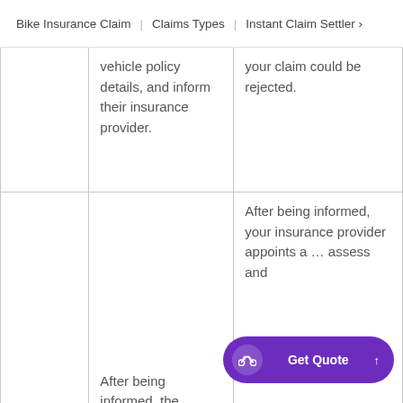Bike Insurance Claim | Claims Types | Instant Claim Settler »
|  |  |  |
| --- | --- | --- |
|  | vehicle policy details, and inform their insurance provider. | your claim could be rejected. |
|  | After being informed, the insurer transfers the | After being informed, your insurance provider appoints a … assess and |